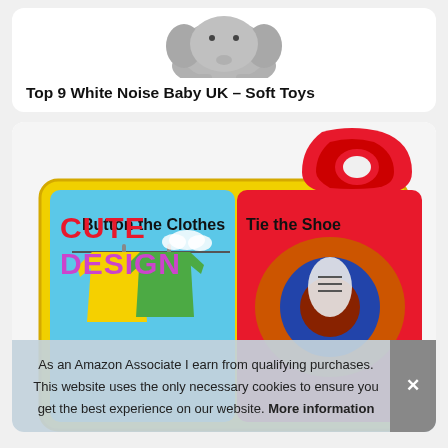[Figure (photo): Partial view of a grey plush elephant soft toy against white background, top portion visible]
Top 9 White Noise Baby UK – Soft Toys
[Figure (photo): Colourful children's activity cloth book open to pages showing 'Button the Clothes' (blue page with yellow clothing on a clothesline) and 'Tie the Shoe' (red page with a cartoon shoe). Red loop handle at top. Yellow border. 'CUTE DESIGN' text overlay in red and purple in upper left corner.]
As an Amazon Associate I earn from qualifying purchases. This website uses the only necessary cookies to ensure you get the best experience on our website. More information